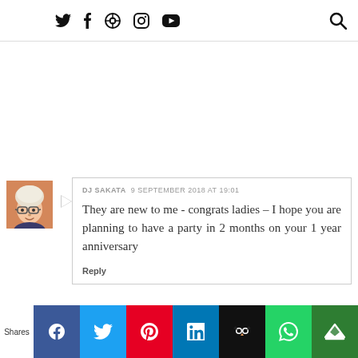Social media navigation icons: Twitter, Facebook, Pinterest, Instagram, YouTube, Search
[Figure (illustration): Avatar illustration of a person with white hair and glasses, cartoon style, orange/brown tones]
DJ SAKATA  9 SEPTEMBER 2018 AT 19:01
They are new to me - congrats ladies - I hope you are planning to have a party in 2 months on your 1 year anniversary
Reply
Shares | Facebook | Twitter | Pinterest | LinkedIn | Buffer | WhatsApp | Crown